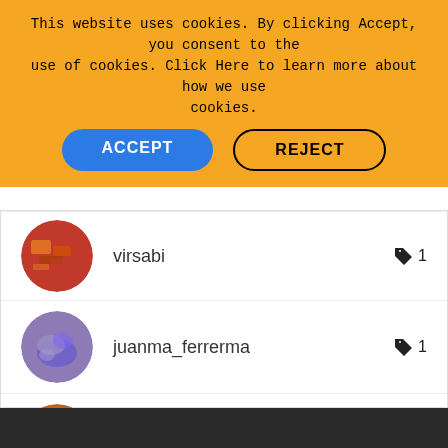This website uses cookies. By clicking Accept, you consent to the use of cookies. Click Here to learn more about how we use cookies.
ACCEPT
REJECT
virsabi  🏷 1
juanma_ferrerma  🏷 1
sargrass  🏷 1
VIEW ALL